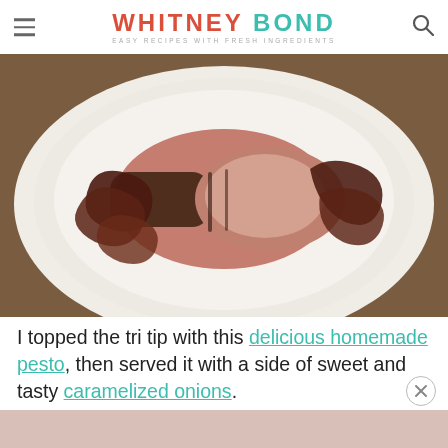WHITNEY BOND — EASY RECIPES WITH FRESH INGREDIENTS
[Figure (photo): A white plate with sliced tri tip beef topped with caramelized red onions, served on a wooden table.]
I topped the tri tip with this delicious homemade pesto, then served it with a side of sweet and tasty caramelized onions.